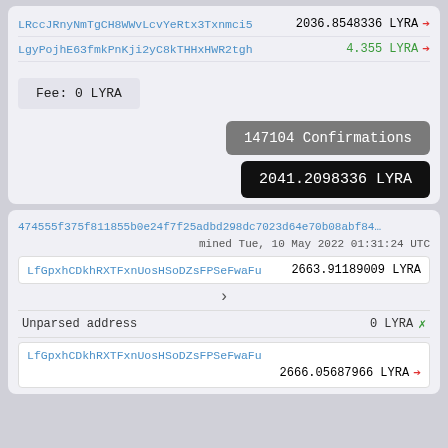LRccJRnyNmTgCH8WWvLcvYeRtx3Txnmci5  2036.8548336 LYRA →
LgyPojhE63fmkPnKji2yC8kTHHxHWR2tgh  4.355 LYRA →
Fee: 0 LYRA
147104 Confirmations
2041.2098336 LYRA
474555f375f811855b0e24f7f25adbd298dc7023d64e70b08abf84…
mined Tue, 10 May 2022 01:31:24 UTC
LfGpxhCDkhRXTFxnUosHSoDZsFPSeFwaFu  2663.91189009 LYRA
>
Unparsed address  0 LYRA ×
LfGpxhCDkhRXTFxnUosHSoDZsFPSeFwaFu
2666.05687966 LYRA →